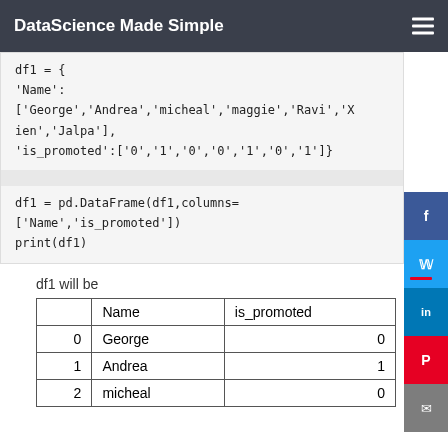DataScience Made Simple
df1 = {
'Name':
['George','Andrea','micheal','maggie','Ravi','Xien','Jalpa'],
'is_promoted':['0','1','0','0','1','0','1']}
df1 = pd.DataFrame(df1,columns=
['Name','is_promoted'])
print(df1)
df1 will be
|  | Name | is_promoted |
| --- | --- | --- |
| 0 | George | 0 |
| 1 | Andrea | 1 |
| 2 | micheal | 0 |